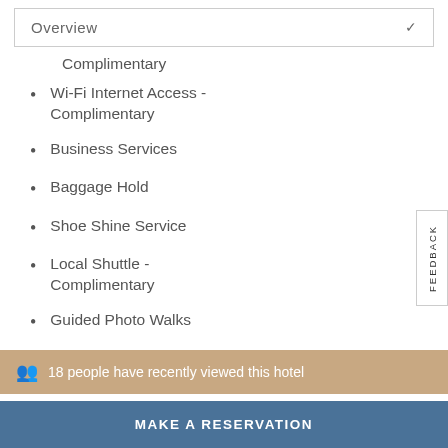Overview
Complimentary
Wi-Fi Internet Access - Complimentary
Business Services
Baggage Hold
Shoe Shine Service
Local Shuttle - Complimentary
Guided Photo Walks
Guided Trekking Tours and
18 people have recently viewed this hotel
MAKE A RESERVATION